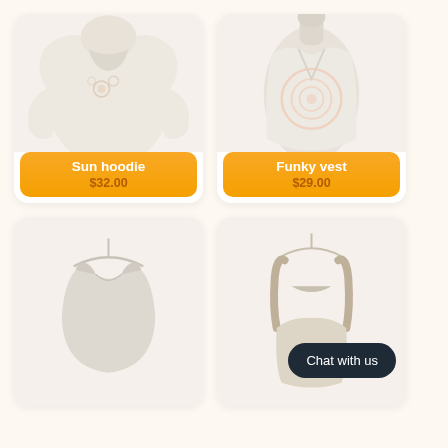[Figure (photo): Sun hoodie product photo - cream/white hoodie with floral embroidery on white background]
Sun hoodie
$32.00
[Figure (photo): Funky vest product photo - cream vest with spiral pattern on mannequin torso]
Funky vest
$29.00
[Figure (photo): Third product - plain light grey/cream sleeveless top on hanger]
[Figure (photo): Fourth product - beige/tan sleeveless garment partially visible]
Chat with us